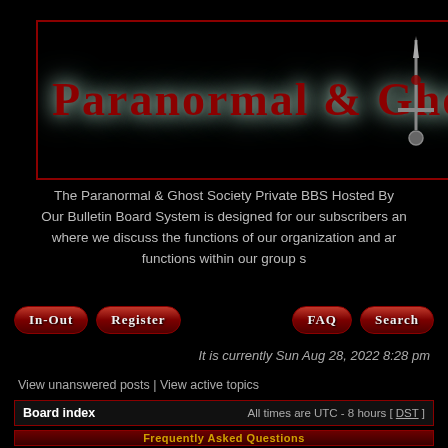[Figure (logo): Paranormal & Ghost Society dark banner logo with red gothic text on black background with sword icon]
The Paranormal & Ghost Society Private BBS Hosted By Our Bulletin Board System is designed for our subscribers and where we discuss the functions of our organization and functions within our group s
In-Out | Register | FAQ | Search
It is currently Sun Aug 28, 2022 8:28 pm
View unanswered posts | View active topics
Board index    All times are UTC - 8 hours [ DST ]
Frequently Asked Questions